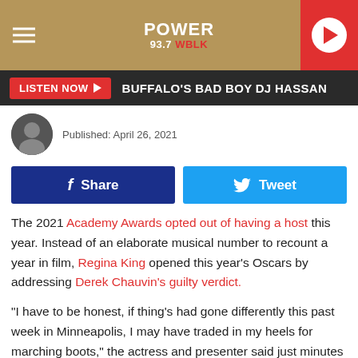POWER 93.7 WBLK
LISTEN NOW ▶ BUFFALO'S BAD BOY DJ HASSAN
Published: April 26, 2021
Share | Tweet
The 2021 Academy Awards opted out of having a host this year. Instead of an elaborate musical number to recount a year in film, Regina King opened this year's Oscars by addressing Derek Chauvin's guilty verdict.
"I have to be honest, if thing's had gone differently this past week in Minneapolis, I may have traded in my heels for marching boots," the actress and presenter said just minutes into the ceremony.